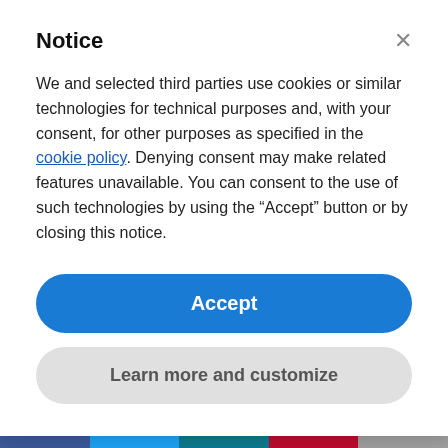Notice
We and selected third parties use cookies or similar technologies for technical purposes and, with your consent, for other purposes as specified in the cookie policy. Denying consent may make related features unavailable. You can consent to the use of such technologies by using the “Accept” button or by closing this notice.
Accept
Learn more and customize
marginalised communities.
Dreammaker Brand and Community development executive, Ike Okafor, expressed why it was